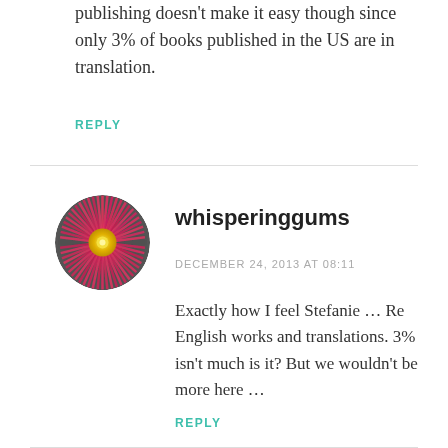publishing doesn't make it easy though since only 3% of books published in the US are in translation.
REPLY
[Figure (photo): Circular avatar image of a pink flower (whisperinggums profile photo)]
whisperinggums
DECEMBER 24, 2013 AT 08:11
Exactly how I feel Stefanie … Re English works and translations. 3% isn't much is it? But we wouldn't be more here …
REPLY